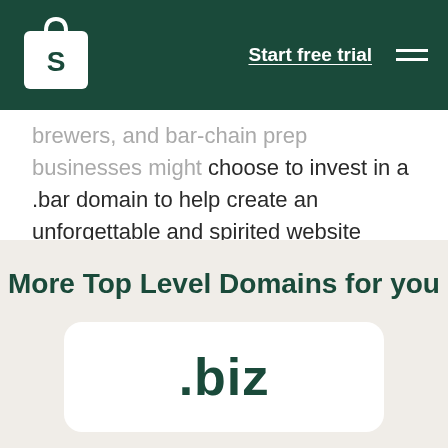Shopify — Start free trial
brewers, and bar-chain prep businesses might choose to invest in a .bar domain to help create an unforgettable and spirited website name.
More Top Level Domains for you
[Figure (other): A white card with rounded corners showing the text '.biz' in dark green bold font]